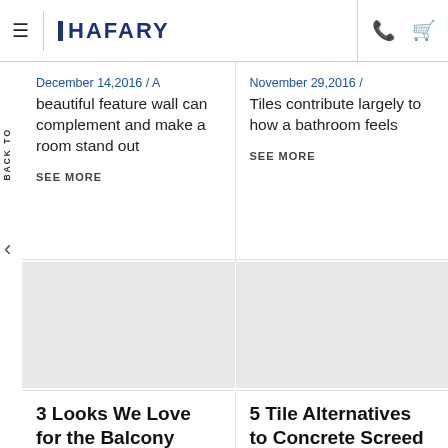HAFARY
December 14,2016 / A beautiful feature wall can complement and make a room stand out
SEE MORE
November 29,2016 / Tiles contribute largely to how a bathroom feels
SEE MORE
3 Looks We Love for the Balcony Floor
October 19,2016 / The balcony can serve many
5 Tile Alternatives to Concrete Screed
November 23,2016 / The Industrial theme for